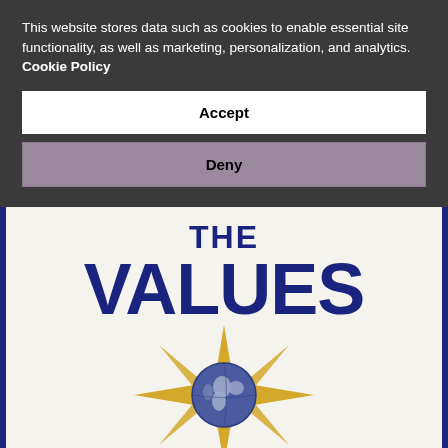This website stores data such as cookies to enable essential site functionality, as well as marketing, personalization, and analytics. Cookie Policy
Accept
Deny
[Figure (logo): Book cover showing 'THE VALUES' title in dark navy blue bold text, with a golden compass rose/star graphic overlaid with a globe showing Earth's continents in dark blue on a lighter blue background]